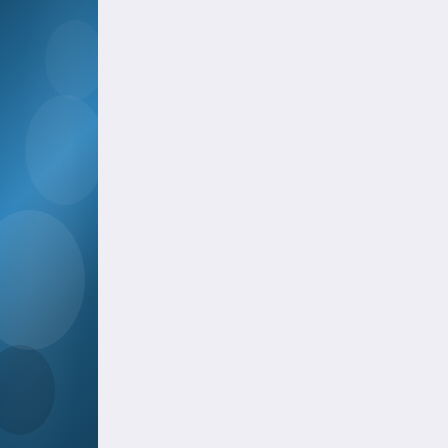[Figure (illustration): Dark blue decorative left sidebar with gradient and subtle radial highlights]
that sharp, utterly a for Jonny C—who encountered Lenne presence), I mutte nearby couch. I pr come by, noticed m

Jonny C promptly a comfortably in a ch and the band ran t crew. (BOMF was though, was doing understands how p inspired me; so I t him perform, runni as you'd think); on take: laughing, jok

And yet as I watch most famous, adm him uncomfortable sage, the political t roll tough guy. It w often got him in tr that he was wearin